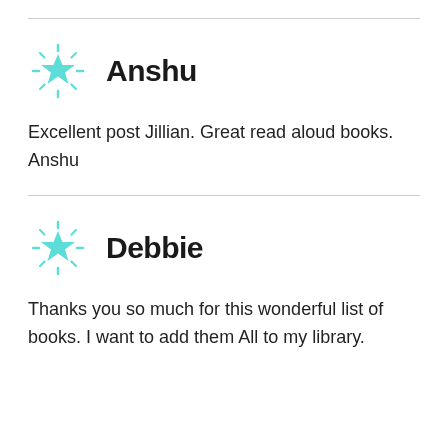[Figure (illustration): Teal sparkle star icon next to author name Anshu]
Anshu
Excellent post Jillian. Great read aloud books. Anshu
[Figure (illustration): Teal sparkle star icon next to author name Debbie]
Debbie
Thanks you so much for this wonderful list of books. I want to add them All to my library.